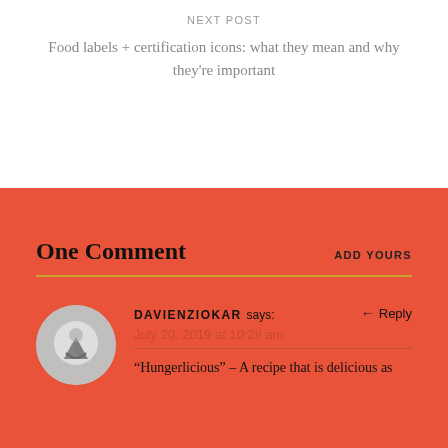NEXT POST
Food labels + certification icons: what they mean and why they're important
One Comment
ADD YOURS
DAVIENZIOKAR says:
Reply
July 20, 2019 at 10:28 am
“Hungerlicious” – A recipe that is delicious as